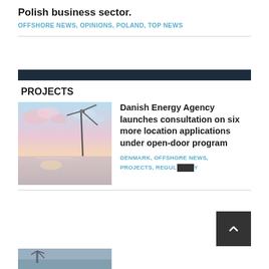Polish business sector.
OFFSHORE NEWS, OPINIONS, POLAND, TOP NEWS
PROJECTS
[Figure (photo): Offshore wind turbine at sunset over water with pink clouds]
Danish Energy Agency launches consultation on six more location applications under open-door program
DENMARK, OFFSHORE NEWS, PROJECTS, REGULATORY